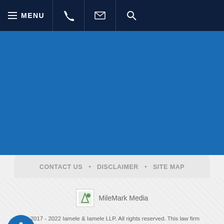MENU
CONTACT US • DISCLAIMER • SITE MAP
[Figure (logo): MileMark Media logo image placeholder with text 'MileMark Media']
© 2017 - 2022 Iamele & Iamele LLP. All rights reserved. This law firm website and legal marketing are managed by MileMark Media.